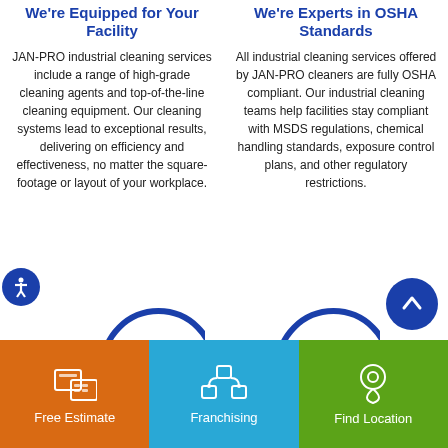We're Equipped for Your Facility
JAN-PRO industrial cleaning services include a range of high-grade cleaning agents and top-of-the-line cleaning equipment. Our cleaning systems lead to exceptional results, delivering on efficiency and effectiveness, no matter the square-footage or layout of your workplace.
We're Experts in OSHA Standards
All industrial cleaning services offered by JAN-PRO cleaners are fully OSHA compliant. Our industrial cleaning teams help facilities stay compliant with MSDS regulations, chemical handling standards, exposure control plans, and other regulatory restrictions.
[Figure (illustration): Two circular icons with blue borders partially visible at the bottom of the content area, representing service categories]
[Figure (illustration): Blue circular button with upward arrow in top right area]
[Figure (illustration): Blue circular accessibility icon on the left side]
Free Estimate
Franchising
Find Location